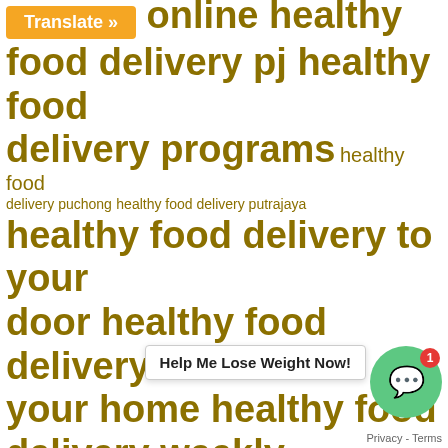[Figure (other): Tag cloud of food delivery and healthy food related keyword phrases in varying sizes, displayed in olive/gold color on white background. Keywords include: healthy food delivery pj, healthy food delivery programs, healthy food delivery puchong, healthy food delivery putrajaya, healthy food delivery to your door, healthy food delivery to your home, healthy food delivery weekly, healthy food for adults in india, healthy food Kuala Lumpur, Healthy food Malaysia, healthy food recipes for kids, Healthy food restaurants, healthy food restaurants healthy food restaurants near me healthy]
[Figure (other): Orange Translate button overlay in top left area]
[Figure (other): Green circular chat widget with speech bubble icon and red badge showing '1', bottom right corner]
Help Me Lose Weight Now!
Privacy - Terms